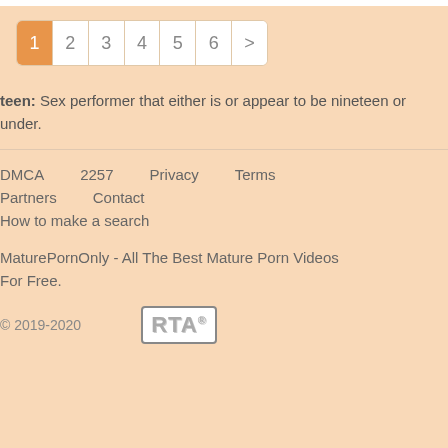[Figure (other): Pagination widget with pages 1-6 and next arrow, page 1 active with orange background]
teen: Sex performer that either is or appear to be nineteen or under.
DMCA   2257   Privacy   Terms
Partners   Contact
How to make a search

MaturePornOnly - All The Best Mature Porn Videos For Free.

© 2019-2020   [RTA® logo]